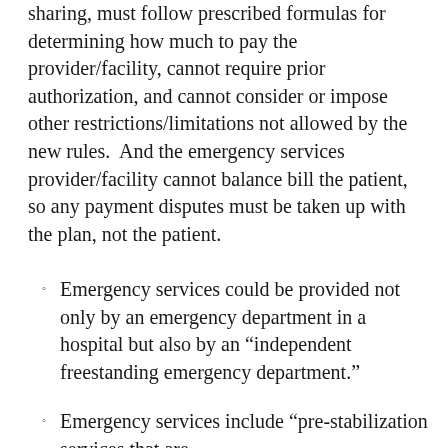sharing, must follow prescribed formulas for determining how much to pay the provider/facility, cannot require prior authorization, and cannot consider or impose other restrictions/limitations not allowed by the new rules.  And the emergency services provider/facility cannot balance bill the patient, so any payment disputes must be taken up with the plan, not the patient.
Emergency services could be provided not only by an emergency department in a hospital but also by an “independent freestanding emergency department.”
Emergency services include “pre-stabilization services that are